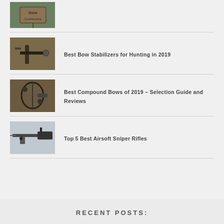[Figure (photo): Thumbnail image of a wooden sign reading 'Gone Duck Hunting']
[Figure (photo): Thumbnail image of bow stabilizer equipment in the field]
Best Bow Stabilizers for Hunting in 2019
[Figure (photo): Thumbnail image of a person adjusting a compound bow outdoors]
Best Compound Bows of 2019 – Selection Guide and Reviews
[Figure (photo): Thumbnail image of a person with airsoft sniper rifle]
Top 5 Best Airsoft Sniper Rifles
RECENT POSTS: